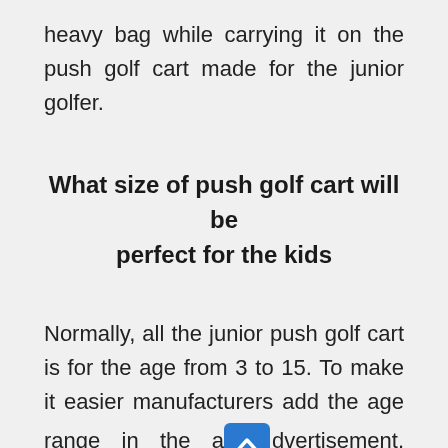heavy bag while carrying it on the push golf cart made for the junior golfer.
What size of push golf cart will be perfect for the kids
Normally, all the junior push golf cart is for the age from 3 to 15. To make it easier manufacturers add the age range in the advertisement. However, not every kid has the ideal height. That's why one should buy